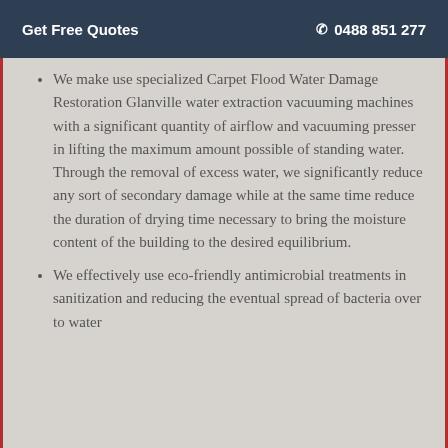Get Free Quotes   ☎ 0488 851 277
We make use specialized Carpet Flood Water Damage Restoration Glanville water extraction vacuuming machines with a significant quantity of airflow and vacuuming presser in lifting the maximum amount possible of standing water.  Through the removal of excess water, we significantly reduce any sort of secondary damage while at the same time reduce the duration of drying time necessary to bring the moisture content of the building to the desired equilibrium.
We effectively use eco-friendly antimicrobial treatments in sanitization and reducing the eventual spread of bacteria over to water